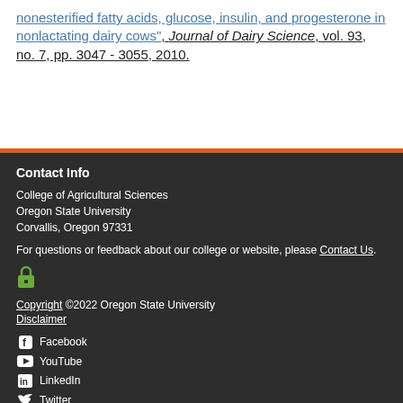nonesterified fatty acids, glucose, insulin, and progesterone in nonlactating dairy cows", Journal of Dairy Science, vol. 93, no. 7, pp. 3047 - 3055, 2010.
Contact Info
College of Agricultural Sciences
Oregon State University
Corvallis, Oregon 97331
For questions or feedback about our college or website, please Contact Us.
Copyright ©2022 Oregon State University
Disclaimer
Facebook
YouTube
LinkedIn
Twitter